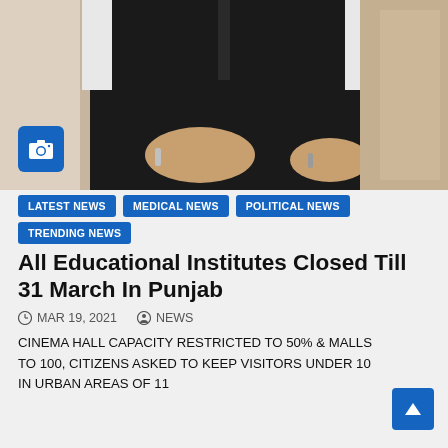[Figure (photo): A person wearing a black sleeveless vest over a white shirt, hands visible with a silver bracelet, seated, photo taken indoors.]
LATEST NEWS
MEDICAL NEWS
POLITICAL NEWS
TRENDING NEWS
All Educational Institutes Closed Till 31 March In Punjab
MAR 19, 2021   NEWS
CINEMA HALL CAPACITY RESTRICTED TO 50% & MALLS TO 100, CITIZENS ASKED TO KEEP VISITORS UNDER 10 IN URBAN AREAS OF 11